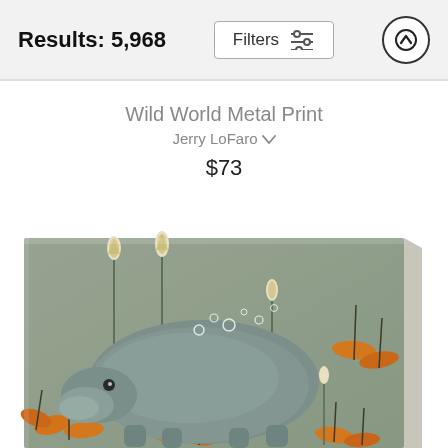Results: 5,968
Filters
Wild World Metal Print
Jerry LoFaro
$73
[Figure (illustration): A whimsical painting of a hippo surrounded by orange flowers and lily buds on a sage green background, shown as a metal print partially angled to show its depth.]